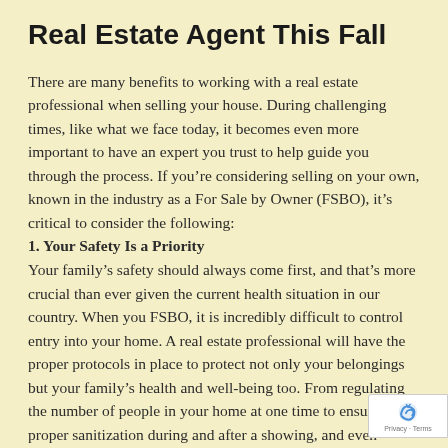Real Estate Agent This Fall
There are many benefits to working with a real estate professional when selling your house. During challenging times, like what we face today, it becomes even more important to have an expert you trust to help guide you through the process. If you’re considering selling on your own, known in the industry as a For Sale by Owner (FSBO), it’s critical to consider the following:
1. Your Safety Is a Priority
Your family’s safety should always come first, and that’s more crucial than ever given the current health situation in our country. When you FSBO, it is incredibly difficult to control entry into your home. A real estate professional will have the proper protocols in place to protect not only your belongings but your family’s health and well-being too. From regulating the number of people in your home at one time to ensuring proper sanitization during and after a showing, and even facilitating virtual tours for buyers, real estate professionals are equipped to follow the latest ind standards recommended by the National Association of